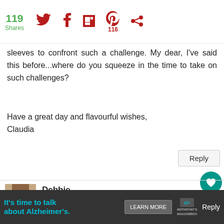119 Shares | Twitter | Facebook | Flipboard | Pinterest 116 | Share
sleeves to confront such a challenge. My dear, I've said this before...where do you squeeze in the time to take on such challenges?
Have a great day and flavourful wishes,
Claudia
Reply
Debbie
April 28, 2011 at 9:44 AM
Yeah!!!! My husband and I feel in love with the... pastries on our honeymoon and I haven't b... Thanks so much for the recipe!
[Figure (other): User avatar photo of Debbie - woman with light hair]
WHAT'S NEXT → Fresh Peach Turnovers...
It's time to talk about Alzheimer's. LEARN MORE | alzheimer's association | Reply